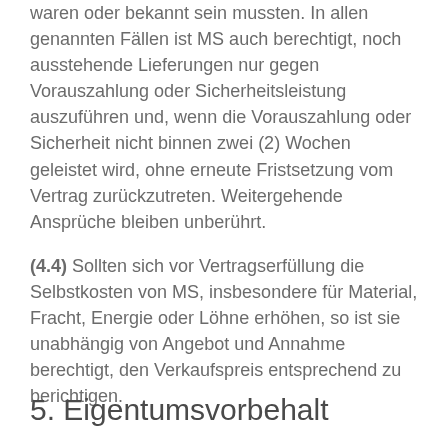waren oder bekannt sein mussten. In allen genannten Fällen ist MS auch berechtigt, noch ausstehende Lieferungen nur gegen Vorauszahlung oder Sicherheitsleistung auszuführen und, wenn die Vorauszahlung oder Sicherheit nicht binnen zwei (2) Wochen geleistet wird, ohne erneute Fristsetzung vom Vertrag zurückzutreten. Weitergehende Ansprüche bleiben unberührt.
(4.4) Sollten sich vor Vertragserfüllung die Selbstkosten von MS, insbesondere für Material, Fracht, Energie oder Löhne erhöhen, so ist sie unabhängig von Angebot und Annahme berechtigt, den Verkaufspreis entsprechend zu berichtigen.
5. Eigentumsvorbehalt